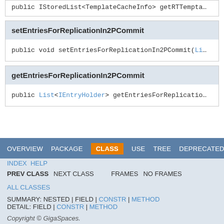public IStoredList<TemplateCacheInfo> getRTTempta...
setEntriesForReplicationIn2PCommit
public void setEntriesForReplicationIn2PCommit(Li...
getEntriesForReplicationIn2PCommit
public List<IEntryHolder> getEntriesForReplicatio...
OVERVIEW  PACKAGE  CLASS  USE  TREE  DEPRECATED  INDEX  HELP  PREV CLASS  NEXT CLASS  FRAMES  NO FRAMES  ALL CLASSES  SUMMARY: NESTED | FIELD | CONSTR | METHOD  DETAIL: FIELD | CONSTR | METHOD  Copyright © GigaSpaces.